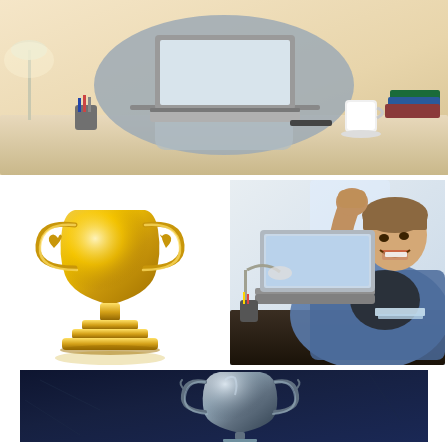[Figure (photo): Woman sitting at a desk working on a laptop, with a lamp, pen holder, coffee mug, and stack of books visible on the desk. Warm lighting.]
[Figure (illustration): Gold trophy cup with handles and tiered base on white background.]
[Figure (photo): Young man sitting at a dark desk with a laptop, raising his fist in celebration/excitement. A lamp and pen holder are on the desk. Bright background.]
[Figure (photo): Silver trophy cup on a dark navy background, partially illuminated with dramatic lighting.]